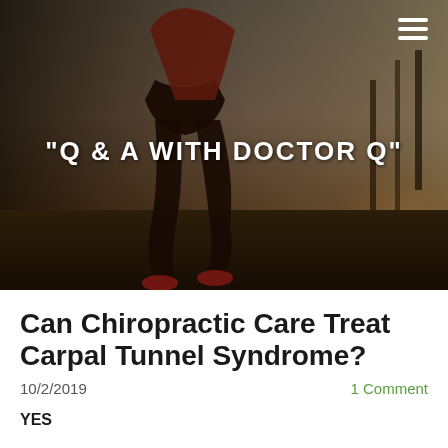[Figure (photo): Hero banner image showing the lower body of a runner on a road at sunset, with a dark overlay. Text overlay reads: "Q & A WITH DOCTOR Q" in large white bold uppercase letters. A hamburger menu icon is in the top-right corner.]
Can Chiropractic Care Treat Carpal Tunnel Syndrome?
10/2/2019
1 Comment
YES